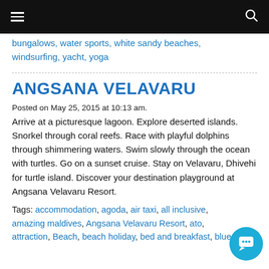Navigation bar with hamburger menu and search icon
bungalows, water sports, white sandy beaches, windsurfing, yacht, yoga
ANGSANA VELAVARU
Posted on May 25, 2015 at 10:13 am.
Arrive at a picturesque lagoon. Explore deserted islands. Snorkel through coral reefs. Race with playful dolphins through shimmering waters. Swim slowly through the ocean with turtles. Go on a sunset cruise. Stay on Velavaru, Dhivehi for turtle island. Discover your destination playground at Angsana Velavaru Resort.
Tags: accommodation, agoda, air taxi, all inclusive, amazing maldives, Angsana Velavaru Resort, atoll, attraction, Beach, beach holiday, bed and breakfast, blue